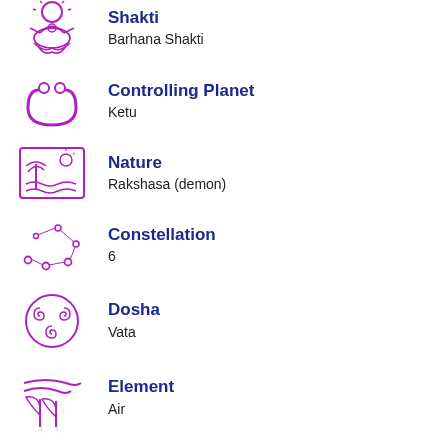Shakti
Barhana Shakti
Controlling Planet
Ketu
Nature
Rakshasa (demon)
Constellation
6
Dosha
Vata
Element
Air
Bird
Red Vulture